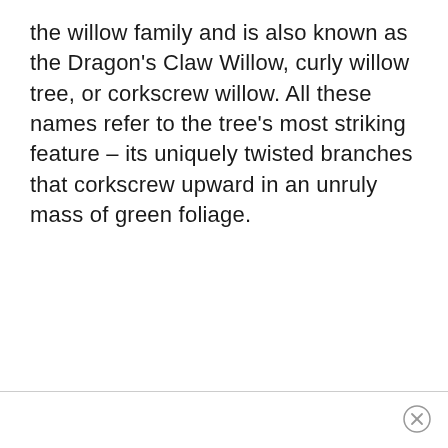the willow family and is also known as the Dragon's Claw Willow, curly willow tree, or corkscrew willow. All these names refer to the tree's most striking feature – its uniquely twisted branches that corkscrew upward in an unruly mass of green foliage.